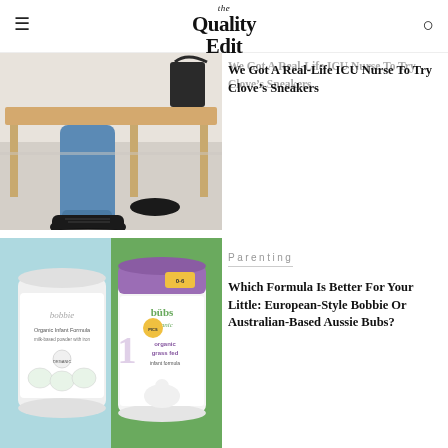the Quality Edit
[Figure (photo): Person sitting on a bench putting on black sneakers, wearing blue jogger pants, wooden bench in background with a bag hanging on it]
We Got A Real-Life ICU Nurse To Try Clove's Sneakers
[Figure (photo): Two baby formula cans side by side: Bobbie Organic Infant Formula on the left (white can, light blue background) and Bubs Organic grass-fed infant formula on the right (white/purple can, green background)]
Parenting
Which Formula Is Better For Your Little: European-Style Bobbie Or Australian-Based Aussie Bubs?